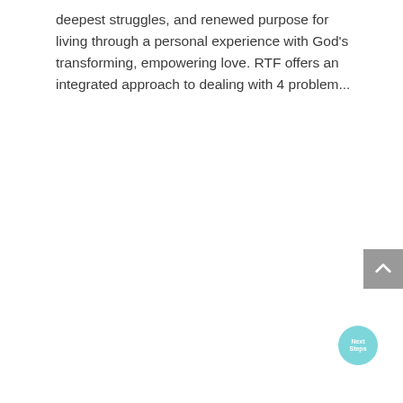deepest struggles, and renewed purpose for living through a personal experience with God's transforming, empowering love. RTF offers an integrated approach to dealing with 4 problem...